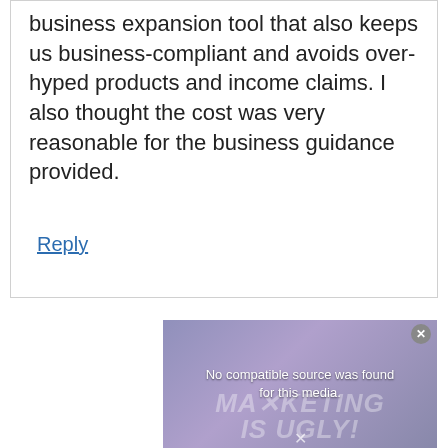business expansion tool that also keeps us business-compliant and avoids over-hyped products and income claims. I also thought the cost was very reasonable for the business guidance provided.
Reply
[Figure (screenshot): Video player showing error message 'No compatible source was found for this media.' with background showing partial marketing-related imagery with text 'MARKETING IS UGLY!' and an X close button.]